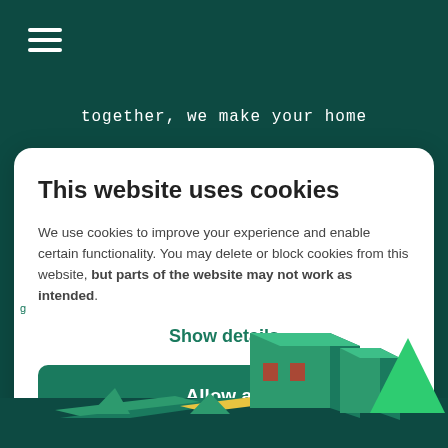together, we make your home
This website uses cookies
We use cookies to improve your experience and enable certain functionality. You may delete or block cookies from this website, but parts of the website may not work as intended.
Show details
Allow all
[Figure (illustration): Isometric illustration of stylized houses and trees in green, teal, orange and yellow on dark teal background]